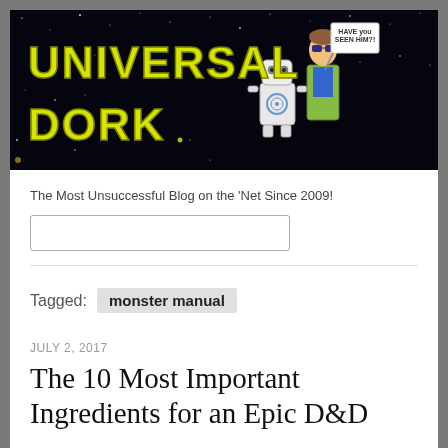[Figure (illustration): Universal Dork blog banner with yellow bubble-letter logo text on a black starfield background, featuring a cartoon robot and a cartoon character holding a sign that says 'Have you seen him?!']
The Most Unsuccessful Blog on the 'Net Since 2009!
Tagged:  monster manual
JULY 2, 2017
The 10 Most Important Ingredients for an Epic D&D